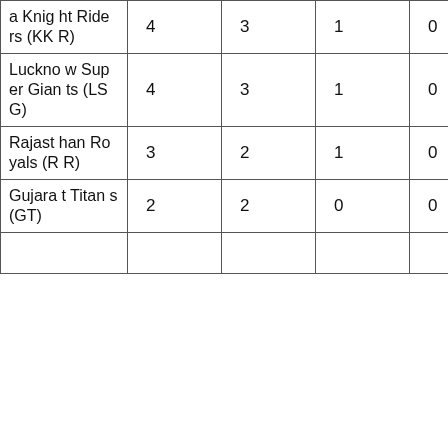| a Knight Riders (KKR) | 4 | 3 | 1 | 0 | 6 |
| Lucknow Super Giants (LSG) | 4 | 3 | 1 | 0 | 6 |
| Rajasthan Royals (RR) | 3 | 2 | 1 | 0 | 4 |
| Gujarat Titans (GT) | 2 | 2 | 0 | 0 | 4 |
|  |  |  |  |  |  |